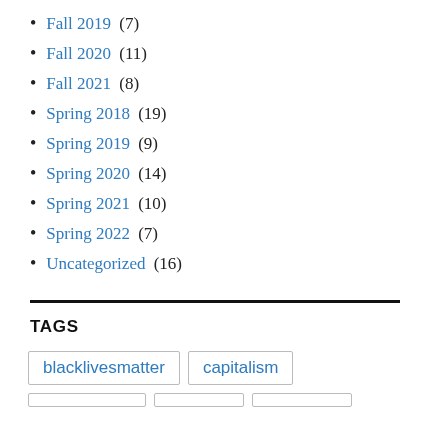Fall 2019 (7)
Fall 2020 (11)
Fall 2021 (8)
Spring 2018 (19)
Spring 2019 (9)
Spring 2020 (14)
Spring 2021 (10)
Spring 2022 (7)
Uncategorized (16)
TAGS
blacklivesmatter  capitalism
(partially visible tags row)